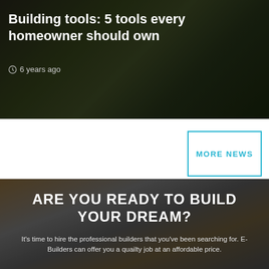Building tools: 5 tools every homeowner should own
6 years ago
[Figure (screenshot): Background photo of outdoor foliage/nature scene with dark overlay, blog article header]
[Figure (other): MORE NEWS button — outlined box with cyan text]
[Figure (photo): Background photo of a large house/lodge-style home with a pool, overlaid with dark semi-transparent gray]
ARE YOU READY TO BUILD YOUR DREAM?
It's time to hire the professional builders that you've been searching for. E-Builders can offer you a quailty job at an affordable price.